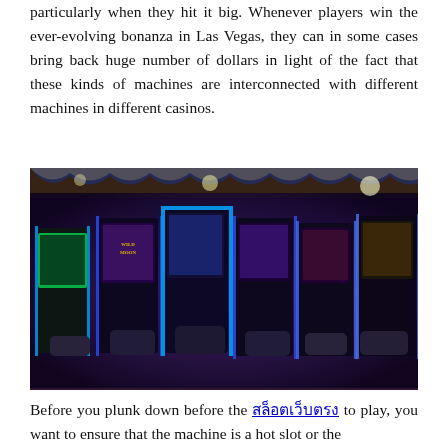particularly when they hit it big. Whenever players win the ever-evolving bonanza in Las Vegas, they can in some cases bring back huge number of dollars in light of the fact that these kinds of machines are interconnected with different machines in different casinos.
[Figure (photo): A casino floor filled with colorful slot machines lit up in blue and purple neon lights, with a decorative gold and blue draped ceiling visible above.]
Before you plunk down before the สล็อตเว็บตรง to play, you want to ensure that the machine is a hot slot or the